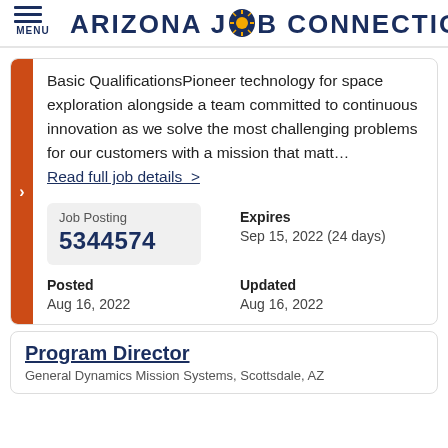ARIZONA JOB CONNECTION
Basic QualificationsPioneer technology for space exploration alongside a team committed to continuous innovation as we solve the most challenging problems for our customers with a mission that matt… Read full job details >
| Job Posting | Expires |
| --- | --- |
| 5344574 | Sep 15, 2022 (24 days) |
| Posted | Updated |
| --- | --- |
| Aug 16, 2022 | Aug 16, 2022 |
Program Director